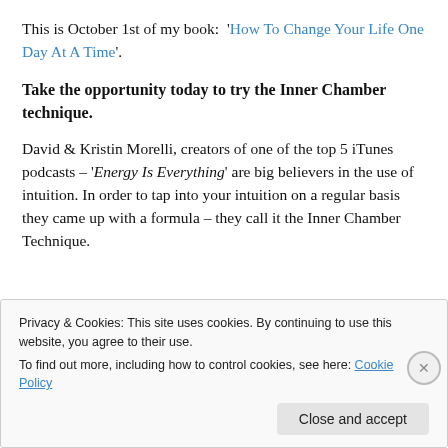This is October 1st of my book:  'How To Change Your Life One Day At A Time'.
Take the opportunity today to try the Inner Chamber technique.
David & Kristin Morelli, creators of one of the top 5 iTunes podcasts – 'Energy Is Everything' are big believers in the use of intuition. In order to tap into your intuition on a regular basis they came up with a formula – they call it the Inner Chamber Technique.
Privacy & Cookies: This site uses cookies. By continuing to use this website, you agree to their use. To find out more, including how to control cookies, see here: Cookie Policy